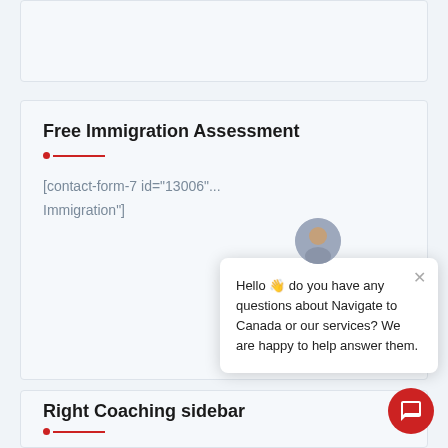[Figure (screenshot): Top light-colored panel, partially visible]
Free Immigration Assessment
[contact-form-7 id="13006" ... Immigration"]
[Figure (screenshot): Chat popup with avatar: Hello do you have any questions about Navigate to Canada or our services? We are happy to help answer them.]
Right Coaching sidebar